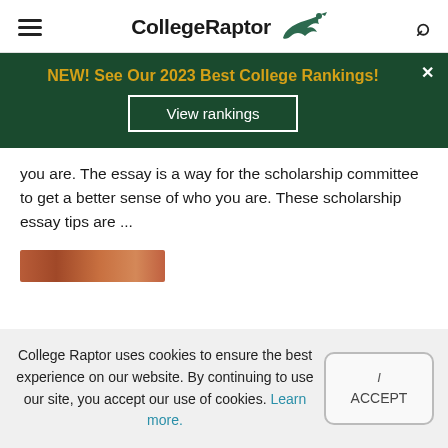CollegeRaptor
[Figure (infographic): Dark green banner with gold text: NEW! See Our 2023 Best College Rankings! with a View rankings button and close X]
you are. The essay is a way for the scholarship committee to get a better sense of who you are. These scholarship essay tips are ...
[Figure (photo): Partial thumbnail image in reddish-brown tones]
College Raptor uses cookies to ensure the best experience on our website. By continuing to use our site, you accept our use of cookies. Learn more.